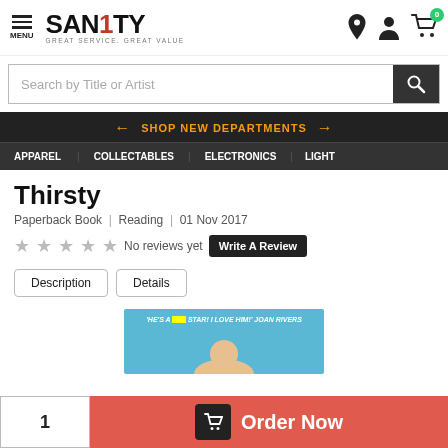[Figure (logo): Sanity logo with tagline GREAT SERVICE. GREAT VALUE]
Search by Title or Artist
← SHOP NEW DEPARTMENTS →
APPAREL   COLLECTABLES   ELECTRONICS   LIGHT
Thirsty
Paperback Book  |  Reading  |  01 Nov 2017
★★★★★ No reviews yet  Write A Review
Description   Details
[Figure (photo): Book cover for Thirsty with quote HE'S A ***** STAR! I LOVE HIM! JOAN RIVERS and partial face image]
1   Order Now